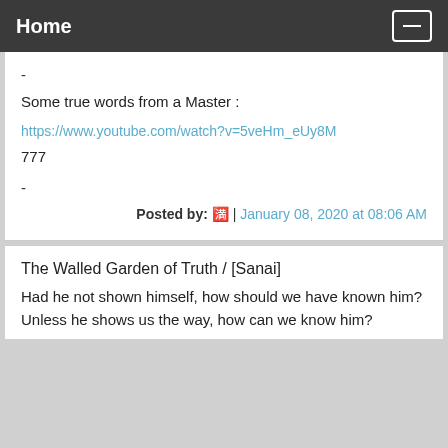Home
-
Some true words from a Master :
https://www.youtube.com/watch?v=5veHm_eUy8M
777
-
Posted by: 🈵 | January 08, 2020 at 08:06 AM
The Walled Garden of Truth / [Sanai]
Had he not shown himself, how should we have known him?
Unless he shows us the way, how can we know him?